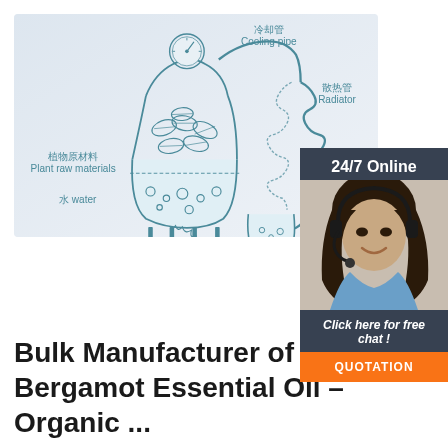[Figure (schematic): Diagram of a steam distillation apparatus for essential oil extraction. Labels in Chinese and English: 冷却管 Cooling pipe, 散热管 Radiator, 植物原材料 Plant raw materials, 水 water, 火 fire, 纯露 Hydrosol. Shows a distillation flask with plant material and water over fire, connected via cooling coils to a collection vessel with hydrosol output.]
[Figure (photo): Photo of a woman with dark hair wearing a headset, smiling, dressed in a light blue shirt. Overlay shows dark grey box with text: 24/7 Online, Click here for free chat!, and orange button labeled QUOTATION.]
Bulk Manufacturer of Bergamot Essential Oil – Organic ...